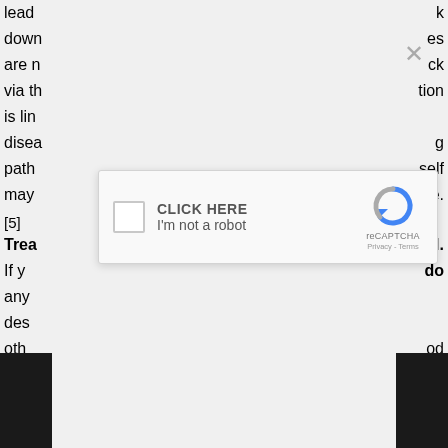lead ... k
down ... es
are n ... ck
via th ... tion
is lin
dise ... g
path ... self
may ... nce.
[5]
Tre ... pl.
If y ... do
any
des
oth ... od
enc
nee ... e.
Stil ... ve
you
[Figure (screenshot): reCAPTCHA widget with checkbox, 'CLICK HERE / I'm not a robot' text, reCAPTCHA logo, Privacy - Terms links, and a close X button above it]